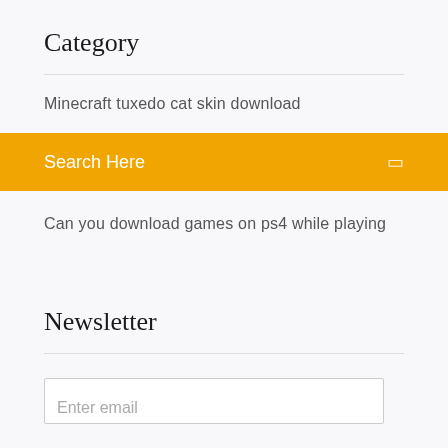Category
Minecraft tuxedo cat skin download
Search Here
Can you download games on ps4 while playing
Newsletter
Enter email